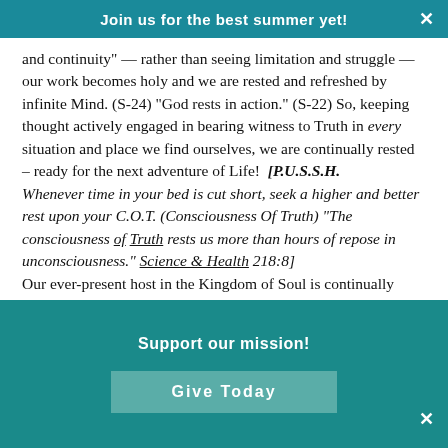Join us for the best summer yet!
and continuity" — rather than seeing limitation and struggle — our work becomes holy and we are rested and refreshed by infinite Mind. (S-24)  "God rests in action." (S-22)  So, keeping thought actively engaged in bearing witness to Truth in every situation and place we find ourselves, we are continually rested – ready for the next adventure of Life!  [P.U.S.S.H. Whenever time in your bed is cut short, seek a higher and better rest upon your C.O.T. (Consciousness Of Truth) "The consciousness of Truth rests us more than hours of repose in unconsciousness." Science & Health 218:8] Our ever-present host in the Kingdom of Soul is continually providing right ideas, the motivation to carry them through, and every detail necessary to complete the tasks before us.  [P.U.S.S.H.] Whether apparently young or old – dismiss the "finity of error."  Proceed with joy!  [Accept the fact that] God has plans for you — grand plans!
Section 6:  The Kingdom is HERE —  Rejoice!
Support our mission!
Give Today